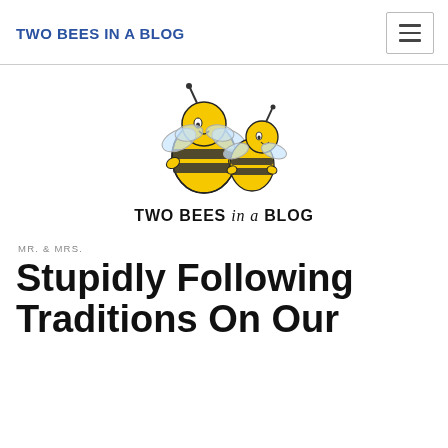TWO BEES IN A BLOG
[Figure (logo): Two cartoon bees mascot logo with text 'Two Bees in a Blog' underneath]
MR. & MRS.
Stupidly Following Traditions On Our Wedding D…